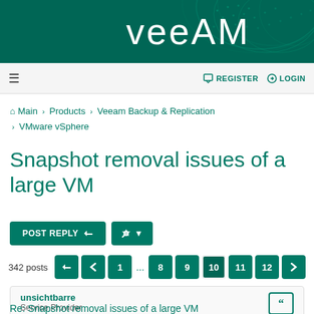[Figure (logo): Veeam logo on dark green banner with wave pattern]
≡  REGISTER  LOGIN
Main › Products › Veeam Backup & Replication › VMware vSphere
Snapshot removal issues of a large VM
POST REPLY  🔧 |▾
342 posts  ➤ ‹ 1 ... 8 9 10 11 12 ›
unsichtbarre
Service Provider
Re: Snapshot removal issues of a large VM